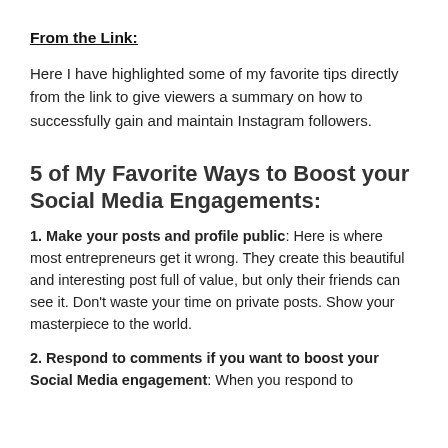From the Link:
Here I have highlighted some of my favorite tips directly from the link to give viewers a summary on how to successfully gain and maintain Instagram followers.
5 of My Favorite Ways to Boost your Social Media Engagements:
1. Make your posts and profile public: Here is where most entrepreneurs get it wrong. They create this beautiful and interesting post full of value, but only their friends can see it. Don't waste your time on private posts. Show your masterpiece to the world.
2. Respond to comments if you want to boost your Social Media engagement: When you respond to